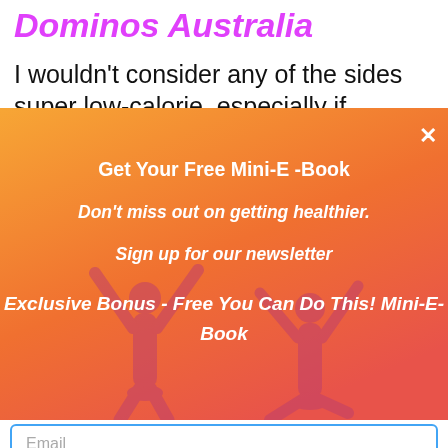Dominos Australia
I wouldn't consider any of the sides super low-calorie, especially if
[Figure (infographic): Orange/sunset gradient popup overlay with two female silhouettes jumping on a beach, containing newsletter sign-up text. Has a close (x) button in the top-right corner. Text reads: 'Get Your Free Mini-E -Book', 'Don't miss out on getting healthier.', 'Sign up for our newsletter', 'Exclusive Bonus - Free You Can Do This! Mini-E-Book']
Email
SUBSCRIBE